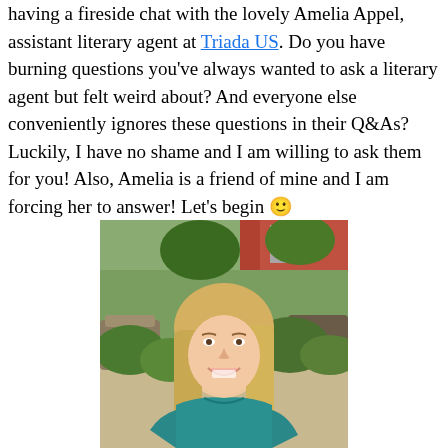having a fireside chat with the lovely Amelia Appel, assistant literary agent at Triada US. Do you have burning questions you've always wanted to ask a literary agent but felt weird about? And everyone else conveniently ignores these questions in their Q&As?  Luckily, I have no shame and I am willing to ask them for you! Also, Amelia is a friend of mine and I am forcing her to answer! Let's begin 🙂
[Figure (photo): Photo of a young woman with long blonde hair, wearing a teal/turquoise top, smiling at the camera. Background shows an outdoor patio area with brick buildings, patio furniture, and green plants/trees.]